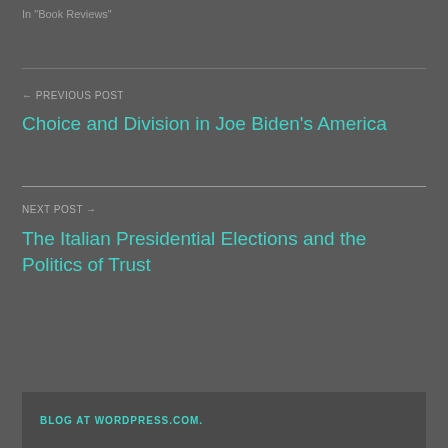In "Book Reviews"
← PREVIOUS POST
Choice and Division in Joe Biden's America
NEXT POST →
The Italian Presidential Elections and the Politics of Trust
BLOG AT WORDPRESS.COM.